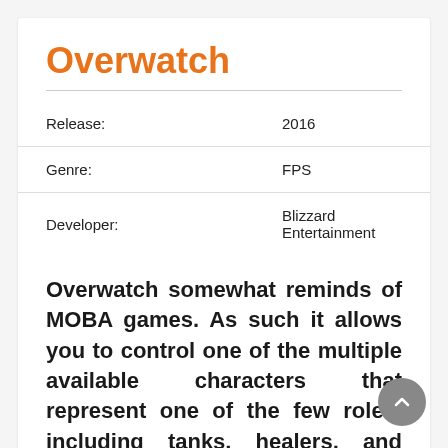Overwatch
| Release: | 2016 |
| Genre: | FPS |
| Developer: | Blizzard Entertainment |
Overwatch somewhat reminds of MOBA games. As such it allows you to control one of the multiple available characters that represent one of the few roles, including tanks, healers, and builders, but instead of the top-down camera for which classic MOBA games